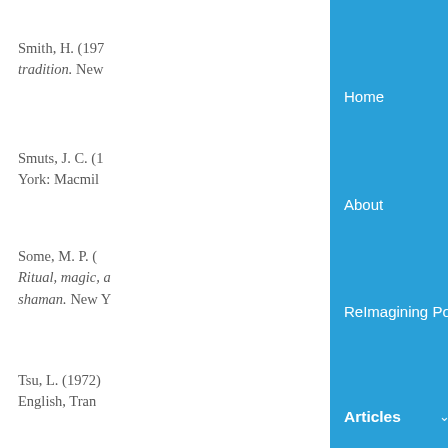Smith, H. (197...) tradition. New ...
Smuts, J. C. (1...) York: Macmil...
Some, M. P. (1...) Ritual, magic, a... shaman. New Y...
Tsu, L. (1972)... English, Tran...
Turner, V. (19...) and anti-struct... Press.
Van Gennep, ... Chicago: Uni...
[Figure (screenshot): Navigation menu overlay on blue background with items: Home, About, ReImagining Podcast, Articles (bold, with chevron), Get Involved, Contact Us]